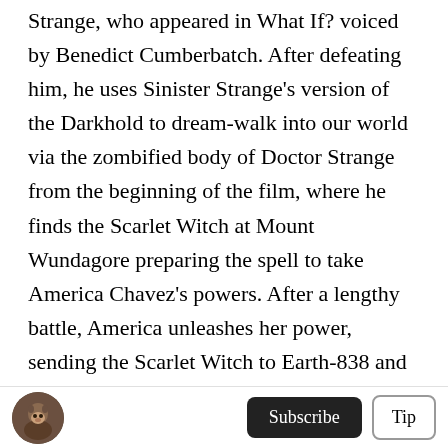Strange, who appeared in What If? voiced by Benedict Cumberbatch. After defeating him, he uses Sinister Strange's version of the Darkhold to dream-walk into our world via the zombified body of Doctor Strange from the beginning of the film, where he finds the Scarlet Witch at Mount Wundagore preparing the spell to take America Chavez's powers. After a lengthy battle, America unleashes her power, sending the Scarlet Witch to Earth-838 and upon facing her multiversal counterpart, who lives in a suburban utopia with her sons, Billy and Tommy, she breaks down in remorse after her alternate persona frightens them. She